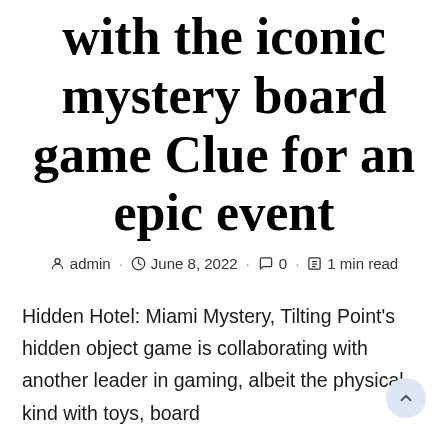with the iconic mystery board game Clue for an epic event
admin · June 8, 2022 · 0 · 1 min read
Hidden Hotel: Miami Mystery, Tilting Point's hidden object game is collaborating with another leader in gaming, albeit the physical kind with toys, board